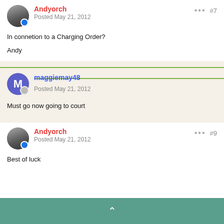Andyorch — Posted May 21, 2012 — #7
In connetion to a Charging Order?
Andy
maggiemay48 — Posted May 21, 2012 — #8
Must go now going to court
Andyorch — Posted May 21, 2012 — #9
Best of luck